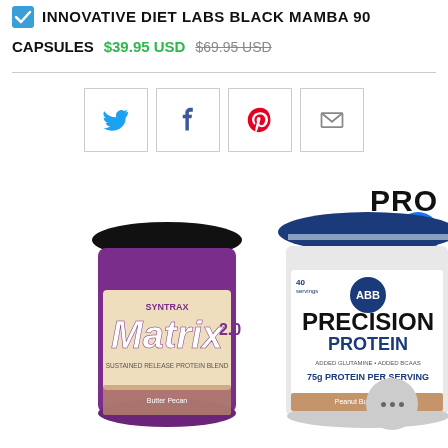INNOVATIVE DIET LABS BLACK MAMBA 90 CAPSULES
$39.95 USD $69.95 USD
[Figure (other): Social share buttons: Twitter, Facebook, Pinterest, Email]
[Figure (other): Product image: Syntrax Matrix 2.0 protein supplement jar in purple]
[Figure (other): Product image: Precision Protein supplement jar in blue and white]